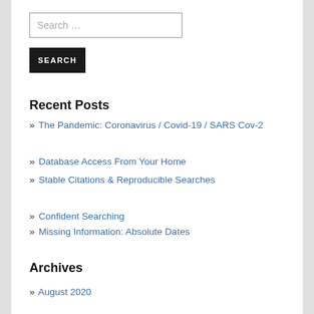Search …
SEARCH
Recent Posts
» The Pandemic: Coronavirus / Covid-19 / SARS Cov-2
» Database Access From Your Home
» Stable Citations & Reproducible Searches
» Confident Searching
» Missing Information: Absolute Dates
Archives
» August 2020